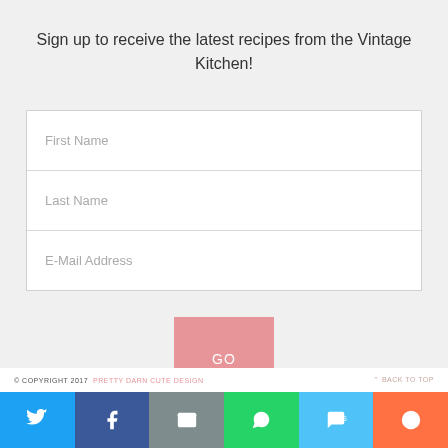Sign up to receive the latest recipes from the Vintage Kitchen!
[Figure (screenshot): Email signup form with fields for First Name, Last Name, E-Mail Address and a pink GO button]
© COPYRIGHT 2017  PRETTY DARN CUTE DESIGN   BACK TO TOP
[Figure (infographic): Social share bar with Twitter, Facebook, Email, WhatsApp, SMS, and More buttons]